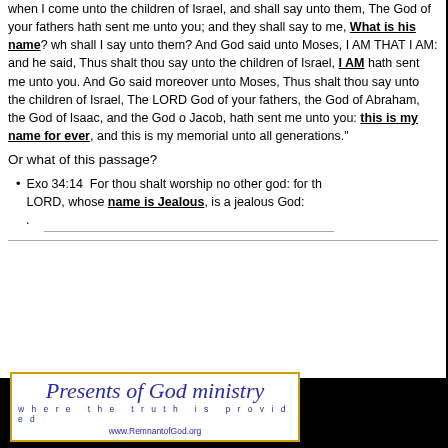when I come unto the children of Israel, and shall say unto them, The God of your fathers hath sent me unto you; and they shall say to me, What is his name? wh shall I say unto them? And God said unto Moses, I AM THAT I AM: and he said, Thus shalt thou say unto the children of Israel, I AM hath sent me unto you. And God said moreover unto Moses, Thus shalt thou say unto the children of Israel, The LORD God of your fathers, the God of Abraham, the God of Isaac, and the God of Jacob, hath sent me unto you: this is my name for ever, and this is my memorial unto all generations."
Or what of this passage?
Exo 34:14  For thou shalt worship no other god: for the LORD, whose name is Jealous, is a jealous God:
[Figure (logo): Presents of God ministry logo — 'where the truth is provided', www.RemnantofGod.org]